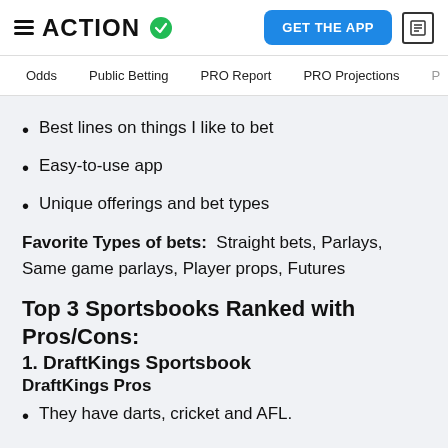ACTION (logo with checkmark) | GET THE APP
Odds | Public Betting | PRO Report | PRO Projections
Best lines on things I like to bet
Easy-to-use app
Unique offerings and bet types
Favorite Types of bets:  Straight bets, Parlays, Same game parlays, Player props, Futures
Top 3 Sportsbooks Ranked with Pros/Cons:
1. DraftKings Sportsbook
DraftKings Pros
They have darts, cricket and AFL.